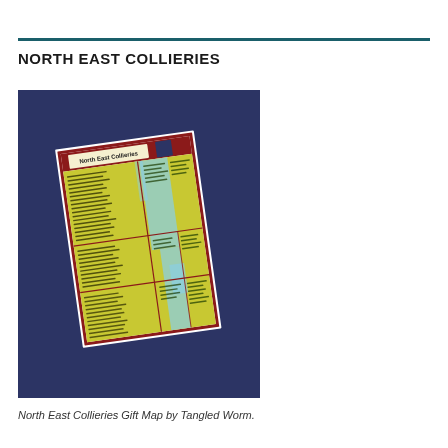NORTH EAST COLLIERIES
[Figure (map): A photograph of the North East Collieries Gift Map by Tangled Worm, shown at a slight angle against a dark navy blue background. The map is rectangular with a red border and shows a yellow-green terrain map of North East England divided into grid sections, with blue coastal/river areas and dense text listing collieries.]
North East Collieries Gift Map by Tangled Worm.